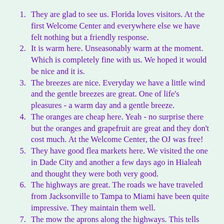They are glad to see us.  Florida loves visitors.  At the first Welcome Center and everywhere else we have felt nothing but a friendly response.
It is warm here.  Unseasonably warm at the moment.  Which is completely fine with us.  We hoped it would be nice and it is.
The breezes are nice.  Everyday we have a little wind and the gentle breezes are great.  One of life's pleasures - a warm day and a gentle breeze.
The oranges are cheap here.  Yeah - no surprise there but the oranges and grapefruit are great and they don't cost much.  At the Welcome Center, the OJ was free!
They have good flea markets here.  We visited the one in Dade City and another a few days ago in Hialeah and thought they were both very good.
The highways are great.  The roads we have traveled from Jacksonville to Tampa to Miami have been quite impressive.  They maintain them well.
The mow the aprons along the highways.  This tells me that the state budget is holding up pretty well since they mow